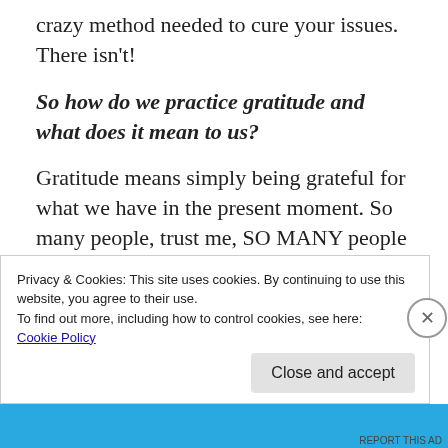crazy method needed to cure your issues. There isn't!
So how do we practice gratitude and what does it mean to us?
Gratitude means simply being grateful for what we have in the present moment. So many people, trust me, SO MANY people are SO UNGRATEFUL these days. They have everything they need but they never stop to
Privacy & Cookies: This site uses cookies. By continuing to use this website, you agree to their use.
To find out more, including how to control cookies, see here:
Cookie Policy
Close and accept